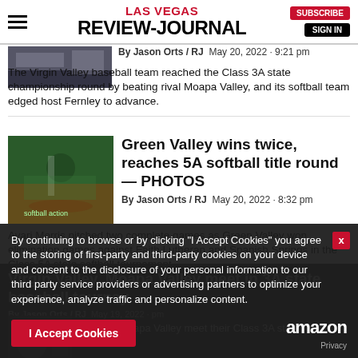LAS VEGAS REVIEW-JOURNAL
[Figure (photo): Partial thumbnail of baseball/sports photo at top]
By Jason Orts / RJ  May 20, 2022 - 9:21 pm
The Virgin Valley baseball team reached the Class 3A state championship round by beating rival Moapa Valley, and its softball team edged host Fernley to advance.
[Figure (photo): Softball player pitching, Green Valley team in green uniforms]
Green Valley wins twice, reaches 5A softball title round — PHOTOS
By Jason Orts / RJ  May 20, 2022 - 8:32 pm
Avari Morris pitched two complete games as Green Valley won elimination games against Faith Lutheran and Spanish Springs in the Class 5A state softball tournament.
By continuing to browse or by clicking "I Accept Cookies" you agree to the storing of first-party and third-party cookies on your device and consent to the disclosure of your personal information to our third party service providers or advertising partners to optimize your experience, analyze traffic and personalize content.
I Accept Cookies
[Figure (photo): Amazon logo with pets advertisement]
Rivals Virgin Valley and Moapa Valley meet their Class 3A state ...